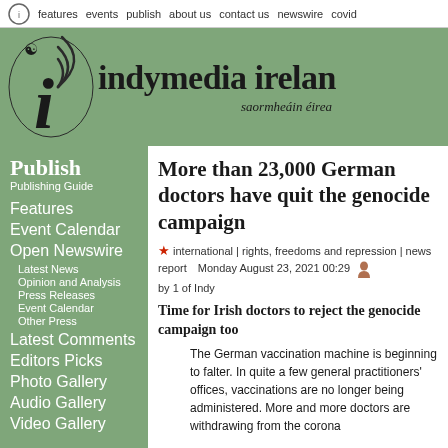features  events  publish  about us  contact us  newswire  covid
[Figure (logo): Indymedia Ireland logo with triskelion and radio waves, green banner background. Text: indymedia ireland, saormheáin éirea]
Publish
Publishing Guide
Features
Event Calendar
Open Newswire
Latest News
Opinion and Analysis
Press Releases
Event Calendar
Other Press
Latest Comments
Editors Picks
Photo Gallery
Audio Gallery
Video Gallery
More than 23,000 German doctors have quit the genocide campaign
★ international | rights, freedoms and repression | news report  Monday August 23, 2021 00:29
by 1 of Indy
Time for Irish doctors to reject the genocide campaign too
The German vaccination machine is beginning to falter. In quite a few general practitioners' offices, vaccinations are no longer being administered. More and more doctors are withdrawing from the corona